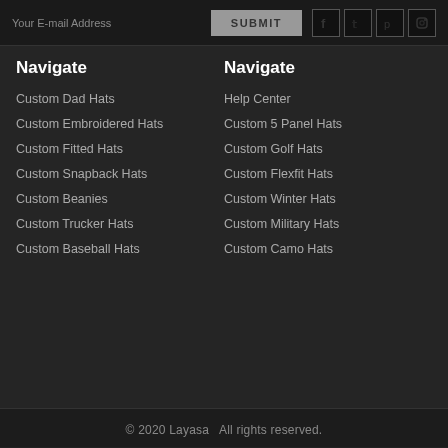Your E-mail Address  SUBMIT
Navigate
Navigate
Custom Dad Hats
Custom Embroidered Hats
Custom Fitted Hats
Custom Snapback Hats
Custom Beanies
Custom Trucker Hats
Custom Baseball Hats
Help Center
Custom 5 Panel Hats
Custom Golf Hats
Custom Flexfit Hats
Custom Winter Hats
Custom Military Hats
Custom Camo Hats
© 2020 Layasa  All rights reserved.